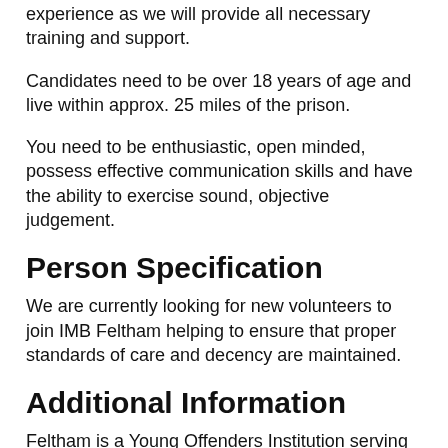experience as we will provide all necessary training and support.
Candidates need to be over 18 years of age and live within approx. 25 miles of the prison.
You need to be enthusiastic, open minded, possess effective communication skills and have the ability to exercise sound, objective judgement.
Person Specification
We are currently looking for new volunteers to join IMB Feltham helping to ensure that proper standards of care and decency are maintained.
Additional Information
Feltham is a Young Offenders Institution serving 15-21 year olds. It is located in the London Borough of Hounslow.
Inside every prison, there is an IMB – a group of ordinary